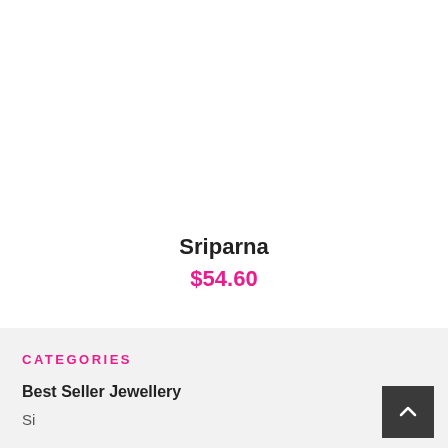Sriparna
$54.60
CATEGORIES
Best Seller Jewellery
Si...